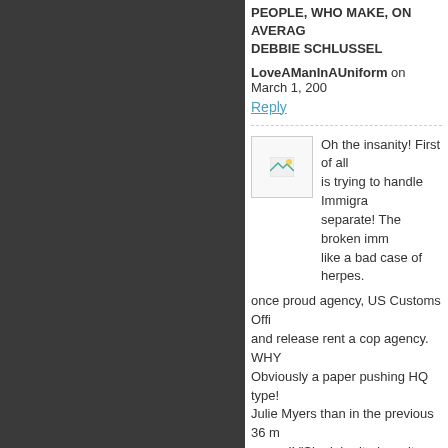PEOPLE, WHO MAKE, ON AVERAGE, DEBBIE SCHLUSSEL
LoveAManInAUniform on March 1, 200
Reply
Oh the insanity! First of all is trying to handle Immigra separate! The broken imm like a bad case of herpes. once proud agency, US Customs Offi and release rent a cop agency. WHY Obviously a paper pushing HQ type! Julie Myers than in the previous 36 m ground! "She inherited a culture of an that is subsiding." Whaaat!? Subsidin charge. The agents that work custom ICE is but I'd like to have a face to fa right on!
Later,
TDYINHELL